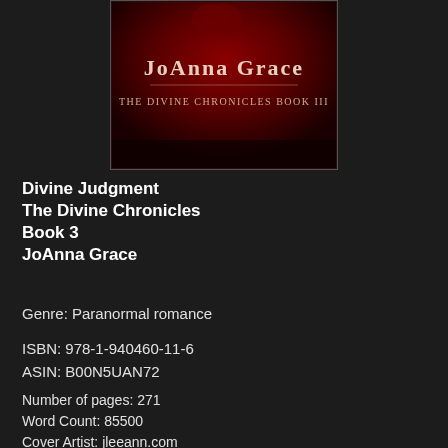[Figure (illustration): Book cover for 'Divine Judgment' by JoAnna Grace, The Divine Chronicles Book III. Dark red/crimson background with the author name 'JoAnna Grace' in large serif font and subtitle 'The Divine Chronicles Book III' beneath it.]
Divine Judgment
The Divine Chronicles
Book 3
JoAnna Grace
Genre: Paranormal romance
ISBN: 978-1-940460-11-6
ASIN: B00N5UAN72
Number of pages: 271
Word Count: 85500
Cover Artist: jleeann.com
Book Description:
One warrior fights for the love of his life, while another warrior finds his